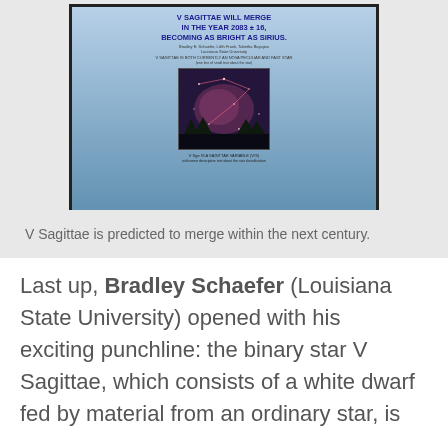[Figure (photo): A photograph of a presentation slide on a monitor screen. The slide title reads 'V SAGITTAE WILL MERGE IN THE YEAR 2083 ± 16, BECOMING AS BRIGHT AS SIRIUS.' The slide shows author names and Louisiana State University affiliation, along with an astronomical image and additional text about V Sagittae.]
V Sagittae is predicted to merge within the next century.
Last up, Bradley Schaefer (Louisiana State University) opened with his exciting punchline: the binary star V Sagittae, which consists of a white dwarf fed by material from an ordinary star, is